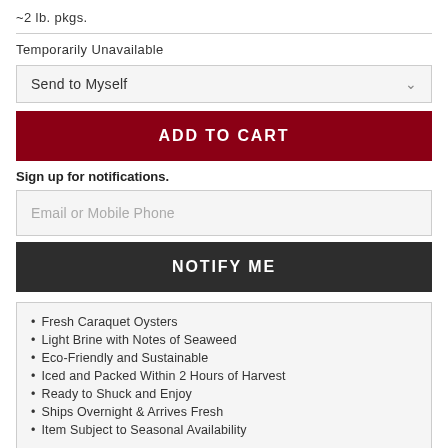~2 lb. pkgs.
Temporarily Unavailable
Send to Myself
ADD TO CART
Sign up for notifications.
Email or Mobile Phone
NOTIFY ME
Fresh Caraquet Oysters
Light Brine with Notes of Seaweed
Eco-Friendly and Sustainable
Iced and Packed Within 2 Hours of Harvest
Ready to Shuck and Enjoy
Ships Overnight & Arrives Fresh
Item Subject to Seasonal Availability